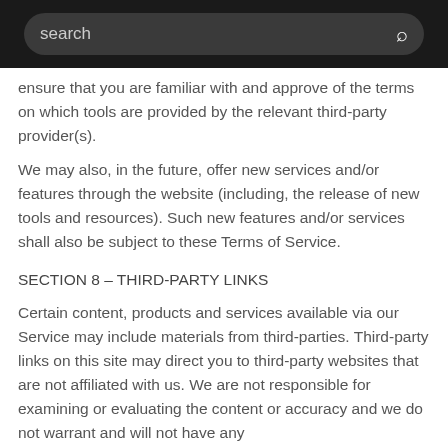search
ensure that you are familiar with and approve of the terms on which tools are provided by the relevant third-party provider(s).
We may also, in the future, offer new services and/or features through the website (including, the release of new tools and resources). Such new features and/or services shall also be subject to these Terms of Service.
SECTION 8 – THIRD-PARTY LINKS
Certain content, products and services available via our Service may include materials from third-parties. Third-party links on this site may direct you to third-party websites that are not affiliated with us. We are not responsible for examining or evaluating the content or accuracy and we do not warrant and will not have any